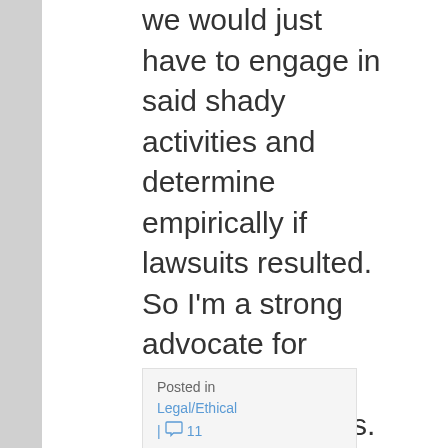we would just have to engage in said shady activities and determine empirically if lawsuits resulted. So I'm a strong advocate for experimentation to push the limits. Kudos to Michael and Mans for volunteering to push the legal limits.
Posted in Legal/Ethical | 11